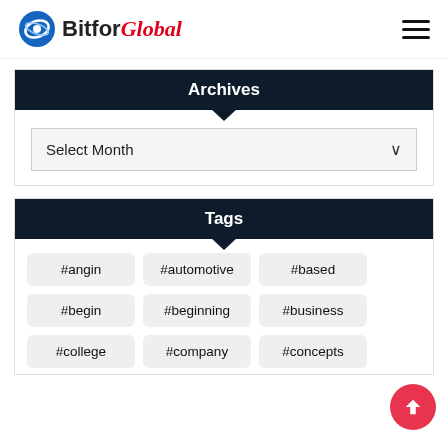BitforGlobal
Archives
Select Month
Tags
#angin
#automotive
#based
#begin
#beginning
#business
#college
#company
#concepts